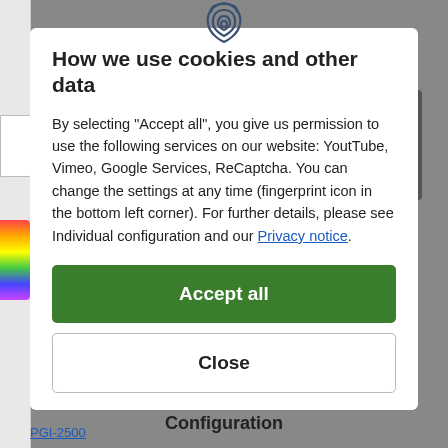[Figure (other): Fingerprint icon at top center of cookie consent modal]
How we use cookies and other data
By selecting "Accept all", you give us permission to use the following services on our website: YoutTube, Vimeo, Google Services, ReCaptcha. You can change the settings at any time (fingerprint icon in the bottom left corner). For further details, please see Individual configuration and our Privacy notice.
Accept all
Close
Configuration
PGI-2500